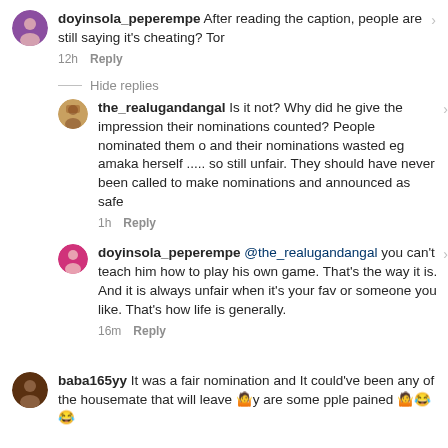doyinsola_peperempe After reading the caption, people are still saying it's cheating? Tor
12h  Reply
Hide replies
the_realugandangal Is it not? Why did he give the impression their nominations counted? People nominated them o and their nominations wasted eg amaka herself ..... so still unfair. They should have never been called to make nominations and announced as safe
1h  Reply
doyinsola_peperempe @the_realugandangal you can't teach him how to play his own game. That's the way it is. And it is always unfair when it's your fav or someone you like. That's how life is generally.
16m  Reply
baba165yy It was a fair nomination and It could've been any of the housemate that will leave 🤷y are some pple pained 🤷😂😂